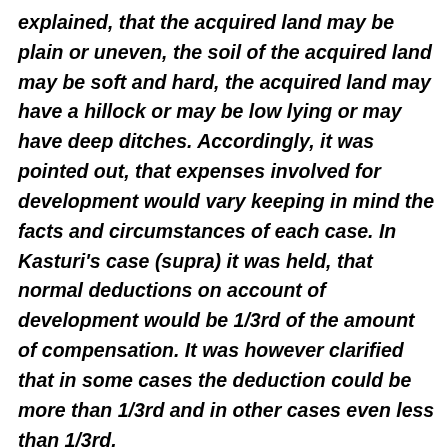explained, that the acquired land may be plain or uneven, the soil of the acquired land may be soft and hard, the acquired land may have a hillock or may be low lying or may have deep ditches. Accordingly, it was pointed out, that expenses involved for development would vary keeping in mind the facts and circumstances of each case. In Kasturi's case (supra) it was held, that normal deductions on account of development would be 1/3rd of the amount of compensation. It was however clarified that in some cases the deduction could be more than 1/3rd and in other cases even less than 1/3rd.
(vi) Following the decision rendered by this Court in